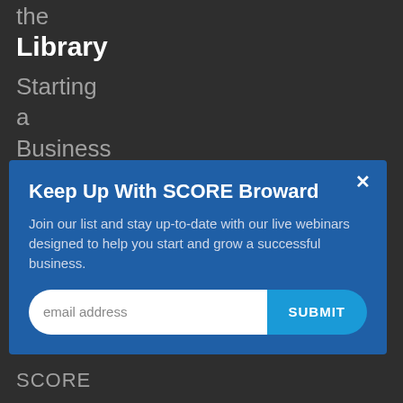the
Library
Starting
a
Business
In
Keep Up With SCORE Broward
Join our list and stay up-to-date with our live webinars designed to help you start and grow a successful business.
email address
SUBMIT
Our
Programs
SCORE